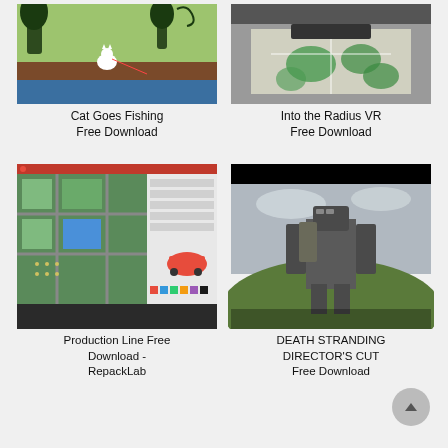[Figure (screenshot): Cat Goes Fishing game screenshot showing a white cat on green terrain with water]
Cat Goes Fishing Free Download
[Figure (screenshot): Into the Radius VR screenshot showing a top-down view of a map with green areas]
Into the Radius VR Free Download
[Figure (screenshot): Production Line game screenshot showing a 3D car factory map and UI panel with a red car]
Production Line Free Download - RepackLab
[Figure (screenshot): Death Stranding Director's Cut screenshot showing a large mech/robot character in an outdoor environment]
DEATH STRANDING DIRECTOR'S CUT Free Download